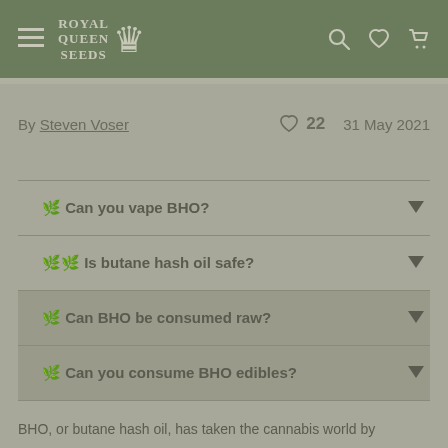Royal Queen Seeds – navigation header with hamburger menu, logo, search, wishlist, and cart icons
By Steven Voser    ♡ 22    31 May 2021
🌿 Can you vape BHO?
🌿🌿 Is butane hash oil safe?
🌿 Can BHO be consumed raw?
🌿 Can you consume BHO edibles?
BHO, or butane hash oil, has taken the cannabis world by